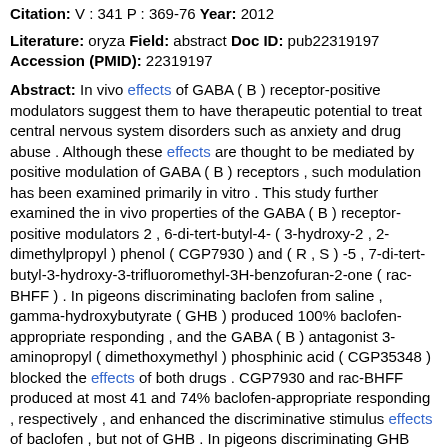Citation: V : 341 P : 369-76 Year: 2012
Literature: oryza Field: abstract Doc ID: pub22319197 Accession (PMID): 22319197
Abstract: In vivo effects of GABA ( B ) receptor-positive modulators suggest them to have therapeutic potential to treat central nervous system disorders such as anxiety and drug abuse . Although these effects are thought to be mediated by positive modulation of GABA ( B ) receptors , such modulation has been examined primarily in vitro . This study further examined the in vivo properties of the GABA ( B ) receptor-positive modulators 2 , 6-di-tert-butyl-4- ( 3-hydroxy-2 , 2-dimethylpropyl ) phenol ( CGP7930 ) and ( R , S ) -5 , 7-di-tert-butyl-3-hydroxy-3-trifluoromethyl-3H-benzofuran-2-one ( rac-BHFF ) . In pigeons discriminating baclofen from saline , gamma-hydroxybutyrate ( GHB ) produced 100% baclofen-appropriate responding , and the GABA ( B ) antagonist 3-aminopropyl ( dimethoxymethyl ) phosphinic acid ( CGP35348 ) blocked the effects of both drugs . CGP7930 and rac-BHFF produced at most 41 and 74% baclofen-appropriate responding , respectively , and enhanced the discriminative stimulus effects of baclofen , but not of GHB . In pigeons discriminating GHB from saline , CGP7930 and rac-BHFF produced at most 1 and 49% GHB-appropriate responding , respectively , and enhanced the effects of baclofen , but not of GHB . Enhancement of the discriminative stimulus effects of baclofen by rac-BHFF and CGP7930 is further evidence of their effectiveness as GABA ( B ) receptor-positive modulators in vivo . Furthermore , lack of complete substitution of the positive modulators rac-BHFF and CGP7930 for baclofen and GHB suggests that their discriminative stimulus effects differ from those of GABA ( B ) receptor agonists . Finally , together with converging evidence that the GABA ( B ) receptor populations mediating the effects of baclofen and GHB are not identical , the present findings suggest that these populations differ in their susceptibility to positive